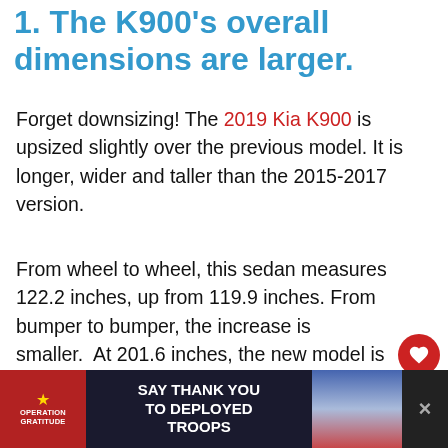1. The K900's overall dimensions are larger.
Forget downsizing! The 2019 Kia K900 is upsized slightly over the previous model. It is longer, wider and taller than the 2015-2017 version.
From wheel to wheel, this sedan measures 122.2 inches, up from 119.9 inches. From bumper to bumper, the increase is smaller. At 201.6 inches, the new model is one inch longer. Its width increased slightly to 75.4 inches from 74.8 inches. From a height perspective, the change is even smaller,
[Figure (infographic): Advertisement banner for Operation Gratitude - Say Thank You to Deployed Troops, with patriotic imagery and a cartoon soldier mascot]